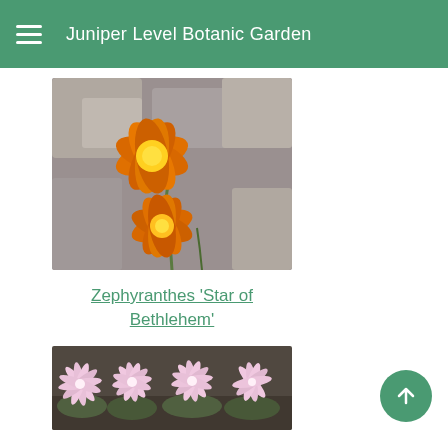Juniper Level Botanic Garden
[Figure (photo): Two orange and yellow star-shaped flowers (Zephyranthes) with a rocky background]
Zephyranthes 'Star of Bethlehem'
[Figure (photo): Pink lily-like flowers (Zephyranthes) growing in a garden bed with dark soil]